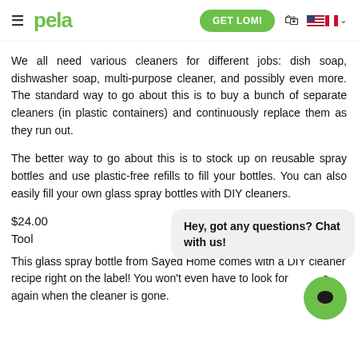pela — GET LOMI
We all need various cleaners for different jobs: dish soap, dishwasher soap, multi-purpose cleaner, and possibly even more. The standard way to go about this is to buy a bunch of separate cleaners (in plastic containers) and continuously replace them as they run out.
The better way to go about this is to stock up on reusable spray bottles and use plastic-free refills to fill your bottles. You can also easily fill your own glass spray bottles with DIY cleaners.
$24.00
Tool
Hey, got any questions? Chat with us!
This glass spray bottle from Sayed Home comes with a DIY cleaner recipe right on the label! You won't even have to look for one again when the cleaner is gone.